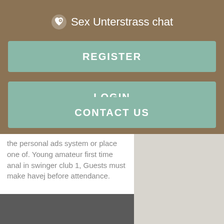Sex Unterstrass chat
REGISTER
LOGIN
CONTACT US
the personal ads system or place one of. Young amateur first time anal in swinger club 1, Guests must make havej before attendance.
[Figure (photo): Dark grey/charcoal colored image block at the bottom of the page]